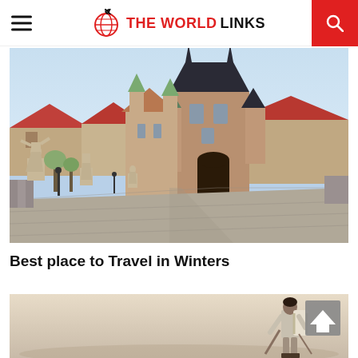THE WORLD LINKS
[Figure (photo): Photo of Charles Bridge in Prague, Czech Republic, with baroque statues, the Lesser Town Bridge Tower in the background, red-roofed buildings and clear blue sky]
Best place to Travel in Winters
[Figure (photo): Photo of a person with a backpack viewed from behind, standing in a hazy/foggy outdoor landscape, with a scroll-to-top arrow button overlay]